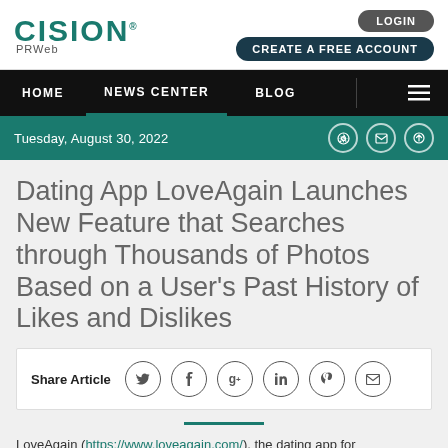CISION PRWeb
LOGIN | CREATE A FREE ACCOUNT
HOME | NEWS CENTER | BLOG
Tuesday, August 30, 2022
Dating App LoveAgain Launches New Feature that Searches through Thousands of Photos Based on a User’s Past History of Likes and Dislikes
Share Article
LoveAgain (https://www.loveagain.com/), the dating app for